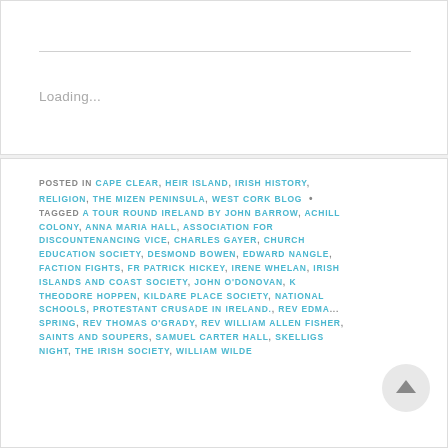Loading...
POSTED IN CAPE CLEAR, HEIR ISLAND, IRISH HISTORY, RELIGION, THE MIZEN PENINSULA, WEST CORK BLOG • TAGGED A TOUR ROUND IRELAND BY JOHN BARROW, ACHILL COLONY, ANNA MARIA HALL, ASSOCIATION FOR DISCOUNTENANCING VICE, CHARLES GAYER, CHURCH EDUCATION SOCIETY, DESMOND BOWEN, EDWARD NANGLE, FACTION FIGHTS, FR PATRICK HICKEY, IRENE WHELAN, IRISH ISLANDS AND COAST SOCIETY, JOHN O'DONOVAN, K THEODORE HOPPEN, KILDARE PLACE SOCIETY, NATIONAL SCHOOLS, PROTESTANT CRUSADE IN IRELAND., REV EDMA SPRING, REV THOMAS O'GRADY, REV WILLIAM ALLEN FISHER, SAINTS AND SOUPERS, SAMUEL CARTER HALL, SKELLIGS NIGHT, THE IRISH SOCIETY, WILLIAM WILDE